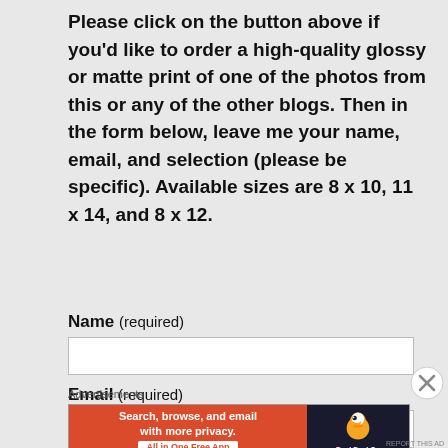Please click on the button above if you'd like to order a high-quality glossy or matte print of one of the photos from this or any of the other blogs. Then in the form below, leave me your name, email, and selection (please be specific). Available sizes are 8 x 10, 11 x 14, and 8 x 12.
Name (required)
Email (required)
[Figure (other): DuckDuckGo advertisement banner: orange left section with text 'Search, browse, and email with more privacy. All in One Free App' and dark right section with DuckDuckGo duck logo and 'DuckDuckGo' text]